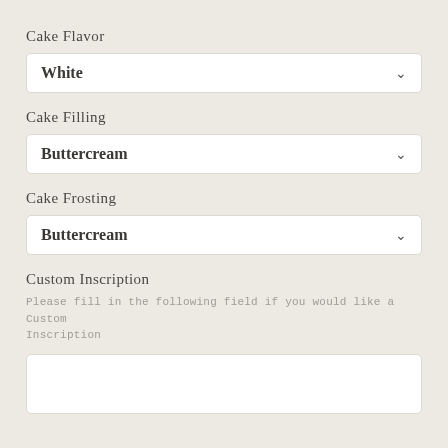Cake Flavor
White
Cake Filling
Buttercream
Cake Frosting
Buttercream
Custom Inscription
Please fill in the following field if you would like a Custom Inscription